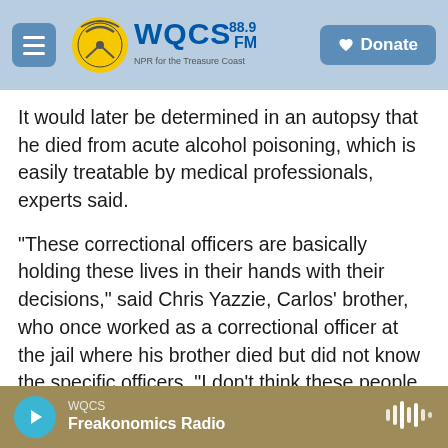WQCS 88.9 FM — NPR for the Treasure Coast | Donate
It would later be determined in an autopsy that he died from acute alcohol poisoning, which is easily treatable by medical professionals, experts said.
"These correctional officers are basically holding these lives in their hands with their decisions," said Chris Yazzie, Carlos' brother, who once worked as a correctional officer at the jail where his brother died but did not know the specific officers. "I don't think these people are prepared."
Yazzie is one of at least 19 men and women who have died since 2016 in tribal detention centers
WQCS — Freakonomics Radio